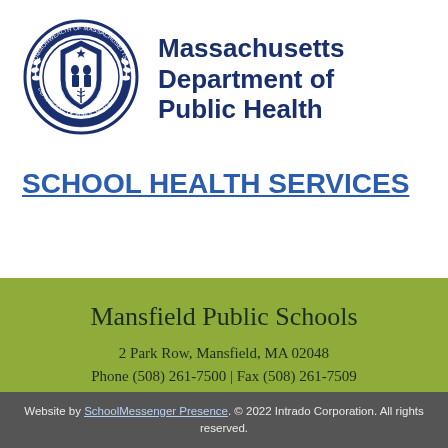[Figure (logo): Commonwealth of Massachusetts Department of Public Health seal — circular blue emblem with state imagery and text around the border]
Massachusetts Department of Public Health
SCHOOL HEALTH SERVICES
Mansfield Public Schools
2 Park Row, Mansfield, MA 02048
Phone (508) 261-7500 | Fax (508) 261-7509
Website by SchoolMessenger Presence. © 2022 Intrado Corporation. All rights reserved.